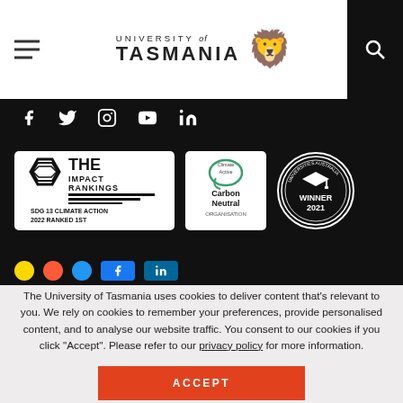University of Tasmania
[Figure (logo): University of Tasmania logo with lion crest]
[Figure (logo): THE Impact Rankings - SDG 13 Climate Action 2022 Ranked 1st badge]
[Figure (logo): Climate Active Carbon Neutral Organisation badge]
[Figure (logo): Winner 2021 circular badge]
The University of Tasmania uses cookies to deliver content that's relevant to you. We rely on cookies to remember your preferences, provide personalised content, and to analyse our website traffic. You consent to our cookies if you click "Accept". Please refer to our privacy policy for more information.
ACCEPT